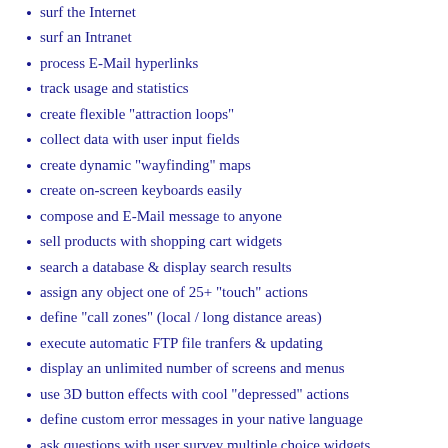surf the Internet
surf an Intranet
process E-Mail hyperlinks
track usage and statistics
create flexible "attraction loops"
collect data with user input fields
create dynamic "wayfinding" maps
create on-screen keyboards easily
compose and E-Mail message to anyone
sell products with shopping cart widgets
search a database & display search results
assign any object one of 25+ "touch" actions
define "call zones" (local / long distance areas)
execute automatic FTP file tranfers & updating
display an unlimited number of screens and menus
use 3D button effects with cool "depressed" actions
define custom error messages in your native language
ask questions with user survey multiple choice widgets
use database aware objects to display fields from databases
create database "grids" for easy menu / directory